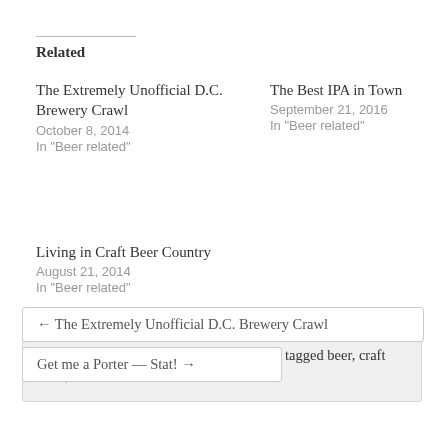Related
The Extremely Unofficial D.C. Brewery Crawl
October 8, 2014
In "Beer related"
The Best IPA in Town
September 21, 2016
In "Beer related"
Living in Craft Beer Country
August 21, 2014
In "Beer related"
This entry was posted in Beer related and tagged beer, craft beer, craft breweries.
← The Extremely Unofficial D.C. Brewery Crawl
Get me a Porter — Stat! →